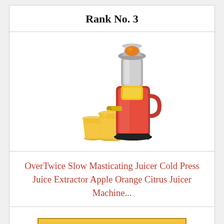Rank No. 3
[Figure (photo): A red slow masticating juicer machine with chrome top hopper, yellow juice flowing into two glasses of orange juice beside the machine.]
OverTwice Slow Masticating Juicer Cold Press Juice Extractor Apple Orange Citrus Juicer Machine...
🛒 Check Latest Price